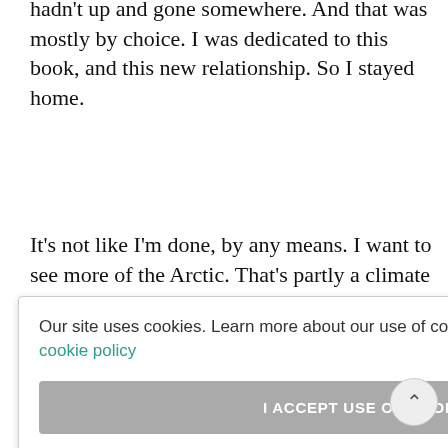hadn't up and gone somewhere. And that was mostly by choice. I was dedicated to this book, and this new relationship. So I stayed home.
It's not like I'm done, by any means. I want to see more of the Arctic. That's partly a climate change-driven choice. You see the change in the climate nowhere more than in the Arctic. I want more of that type of experience.
And of course, my own home. Mike has walked [partially obscured] ounties in [partially obscured] ward to [partially obscured] h [partially obscured] gh I've lived [partially obscured] n and wants
[Figure (screenshot): Cookie consent banner overlay reading 'Our site uses cookies. Learn more about our use of cookies: cookie policy' with an 'I ACCEPT USE OF COOKIES' button and a close (×) icon.]